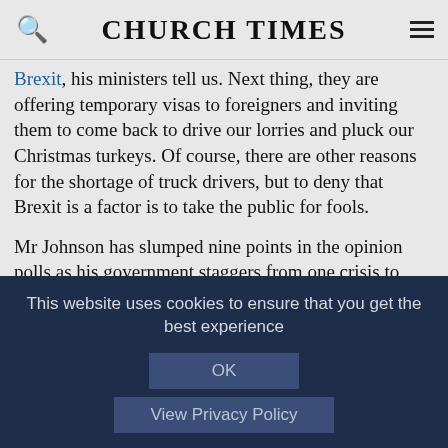CHURCH TIMES
Brexit, his ministers tell us. Next thing, they are offering temporary visas to foreigners and inviting them to come back to drive our lorries and pluck our Christmas turkeys. Of course, there are other reasons for the shortage of truck drivers, but to deny that Brexit is a factor is to take the public for fools.
Mr Johnson has slumped nine points in the opinion polls as his government staggers from one crisis to another — over petrol, gas prices, and carbon dioxide to keep food fresh. A lack of foresight and competence on planning, training, and
This website uses cookies to ensure that you get the best experience
OK
View Privacy Policy